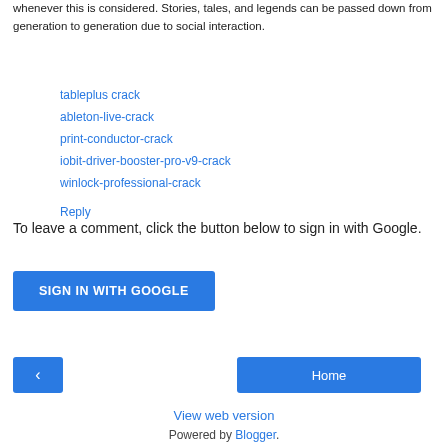whenever this is considered. Stories, tales, and legends can be passed down from generation to generation due to social interaction.
tableplus crack
ableton-live-crack
print-conductor-crack
iobit-driver-booster-pro-v9-crack
winlock-professional-crack
Reply
To leave a comment, click the button below to sign in with Google.
[Figure (other): SIGN IN WITH GOOGLE button (blue)]
[Figure (other): Navigation bar with back arrow button and Home button]
View web version
Powered by Blogger.